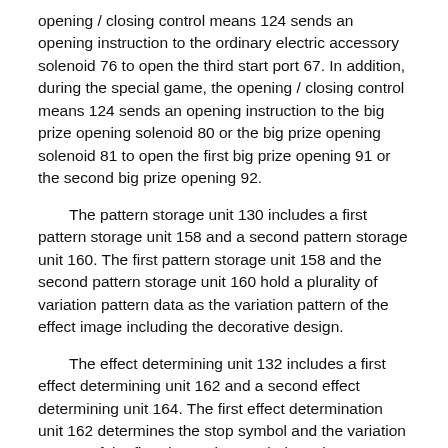opening / closing control means 124 sends an opening instruction to the ordinary electric accessory solenoid 76 to open the third start port 67. In addition, during the special game, the opening / closing control means 124 sends an opening instruction to the big prize opening solenoid 80 or the big prize opening solenoid 81 to open the first big prize opening 91 or the second big prize opening 92.
The pattern storage unit 130 includes a first pattern storage unit 158 and a second pattern storage unit 160. The first pattern storage unit 158 and the second pattern storage unit 160 hold a plurality of variation pattern data as the variation pattern of the effect image including the decorative design.
The effect determining unit 132 includes a first effect determining unit 162 and a second effect determining unit 164. The first effect determination unit 162 determines the stop symbol and the variation pattern of the first decorative symbol 190 in accordance with the stop symbol of the first special symbol 192 and the variation pattern of the first special symbol 192 as a result of the lottery by the first lottery unit 126. To decide. The first effect determination